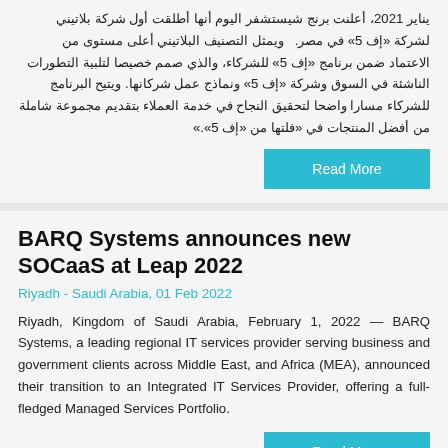يناير 2021، أعلنت برنج شيستشفر اليوم أنها أطلقت أول شركة بلاتيني لشركة «إف 5» في مصر.   ويمثل التصنيف البلاتيني أعلى مستوى من الاعتماد ضمن برنامج «إف 5» للشركاء، والذي صمم خصيصا لتلبية التطورات الناشئة في السوق وشركة «إف 5» ونماذج عمل شركانها. ويتيح البرنامج للشركاء مسارا واضحا لتحقيق النجاح في خدمة العملاء بتقديم مجموعة شاملة من أفضل المنتجات في «فلتها من «إف 5».
Read More
BARQ Systems announces new SOCaaS at Leap 2022
Riyadh - Saudi Arabia, 01 Feb 2022
Riyadh, Kingdom of Saudi Arabia, February 1, 2022 — BARQ Systems, a leading regional IT services provider serving business and government clients across Middle East, and Africa (MEA), announced their transition to an Integrated IT Services Provider, offering a full-fledged Managed Services Portfolio.
Read More